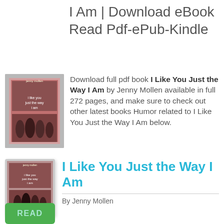I Am | Download eBook Read Pdf-ePub-Kindle
Download full pdf book I Like You Just the Way I Am by Jenny Mollen available in full 272 pages, and make sure to check out other latest books Humor related to I Like You Just the Way I Am below.
[Figure (illustration): Book cover thumbnail for 'I Like You Just the Way I Am' by Jenny Mollen, showing group of women]
I Like You Just the Way I Am
[Figure (illustration): Book cover thumbnail for 'I Like You Just the Way I Am' by Jenny Mollen]
By Jenny Mollen
[Figure (other): Green READ button]